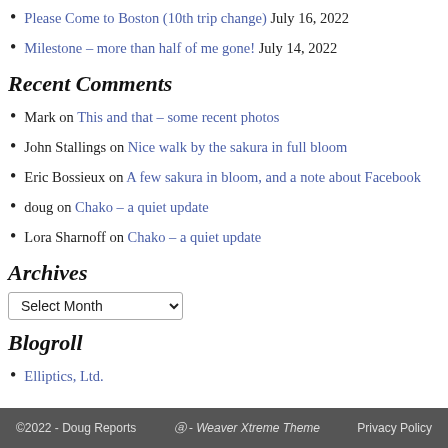Please Come to Boston (10th trip change) July 16, 2022
Milestone – more than half of me gone! July 14, 2022
Recent Comments
Mark on This and that – some recent photos
John Stallings on Nice walk by the sakura in full bloom
Eric Bossieux on A few sakura in bloom, and a note about Facebook
doug on Chako – a quiet update
Lora Sharnoff on Chako – a quiet update
Archives
Select Month (dropdown)
Blogroll
Elliptics, Ltd.
©2022 - Doug Reports   Ⓦ - Weaver Xtreme Theme   Privacy Policy